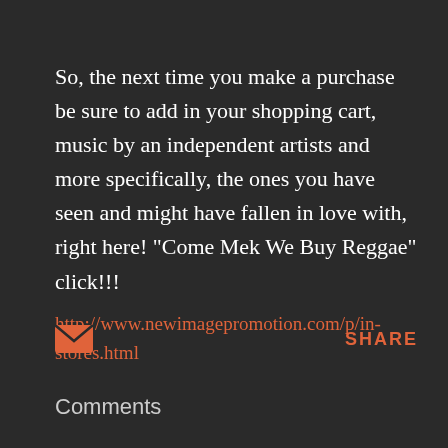So, the next time you make a purchase be sure to add in your shopping cart, music by an independent artists and more specifically, the ones you have seen and might have fallen in love with, right here! "Come Mek We Buy Reggae" click!!!
http://www.newimagepromotion.com/p/in-stores.html
[Figure (infographic): Email envelope icon (orange/red filled) and a SHARE label in orange to the right]
Comments